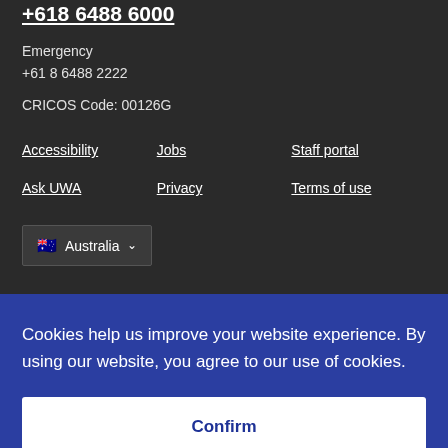+618 6488 6000
Emergency
+61 8 6488 2222
CRICOS Code: 00126G
Accessibility
Jobs
Staff portal
Ask UWA
Privacy
Terms of use
Australia
Cookies help us improve your website experience. By using our website, you agree to our use of cookies.
Confirm